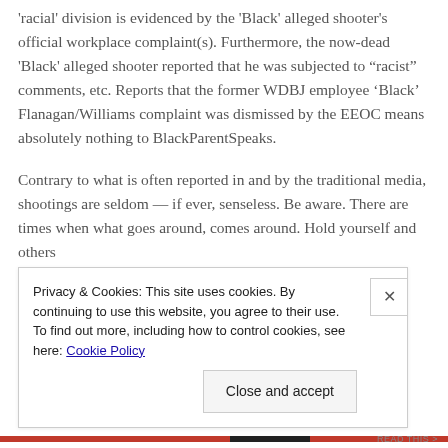'racial' division is evidenced by the 'Black' alleged shooter's official workplace complaint(s). Furthermore, the now-dead 'Black' alleged shooter reported that he was subjected to “racist” comments, etc. Reports that the former WDBJ employee 'Black' Flanagan/Williams complaint was dismissed by the EEOC means absolutely nothing to BlackParentSpeaks.
Contrary to what is often reported in and by the traditional media, shootings are seldom — if ever, senseless. Be aware. There are times when what goes around, comes around. Hold yourself and others
Privacy & Cookies: This site uses cookies. By continuing to use this website, you agree to their use.
To find out more, including how to control cookies, see here: Cookie Policy
Close and accept